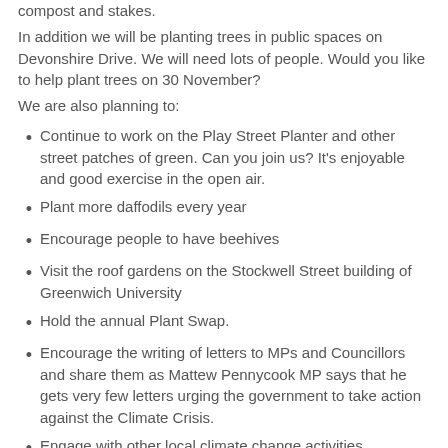compost and stakes.
In addition we will be planting trees in public spaces on Devonshire Drive. We will need lots of people. Would you like to help plant trees on 30 November?
We are also planning to:
Continue to work on the Play Street Planter and other street patches of green. Can you join us? It's enjoyable and good exercise in the open air.
Plant more daffodils every year
Encourage people to have beehives
Visit the roof gardens on the Stockwell Street building of Greenwich University
Hold the annual Plant Swap.
Encourage the writing of letters to MPs and Councillors and share them as Mattew Pennycook MP says that he gets very few letters urging the government to take action against the Climate Crisis.
Engage with other local climate change activities.